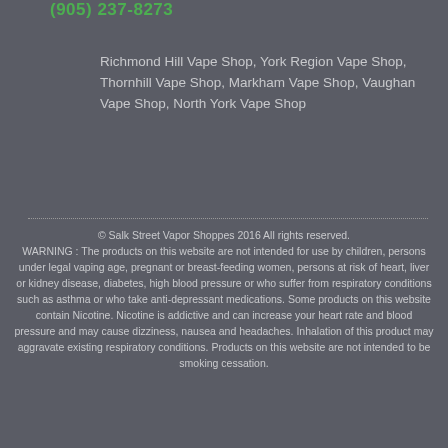(905) 237-8273
Richmond Hill Vape Shop, York Region Vape Shop, Thornhill Vape Shop, Markham Vape Shop, Vaughan Vape Shop, North York Vape Shop
© Salk Street Vapor Shoppes 2016 All rights reserved. WARNING : The products on this website are not intended for use by children, persons under legal vaping age, pregnant or breast-feeding women, persons at risk of heart, liver or kidney disease, diabetes, high blood pressure or who suffer from respiratory conditions such as asthma or who take anti-depressant medications. Some products on this website contain Nicotine. Nicotine is addictive and can increase your heart rate and blood pressure and may cause dizziness, nausea and headaches. Inhalation of this product may aggravate existing respiratory conditions. Products on this website are not intended to be smoking cessation.